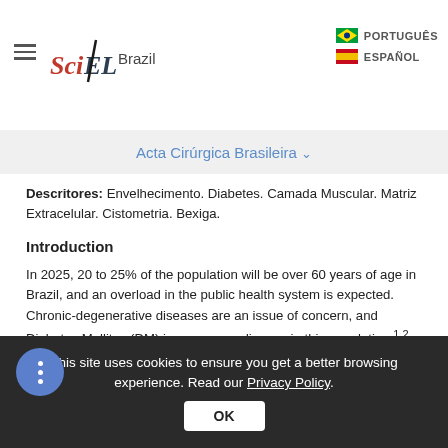SciELO Brazil | Acta Cirúrgica Brasileira
Descritores: Envelhecimento. Diabetes. Camada Muscular. Matriz Extracelular. Cistometria. Bexiga.
Introduction
In 2025, 20 to 25% of the population will be over 60 years of age in Brazil, and an overload in the public health system is expected. Chronic-degenerative diseases are an issue of concern, and Diabetes Mellitus (DM) is a common disease in this population.1,2 Aging and diabetes cause functional and structural alterations in the lower
This site uses cookies to ensure you get a better browsing experience. Read our Privacy Policy. OK